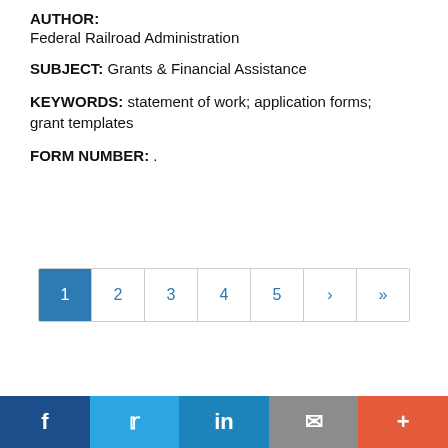AUTHOR:
Federal Railroad Administration
SUBJECT: Grants & Financial Assistance
KEYWORDS: statement of work; application forms; grant templates
FORM NUMBER: .
[Figure (other): Pagination control showing pages 1 (active/highlighted in blue), 2, 3, 4, 5, next arrow, and last page arrow]
Social sharing bar with Facebook, Twitter, LinkedIn, Email, and More buttons